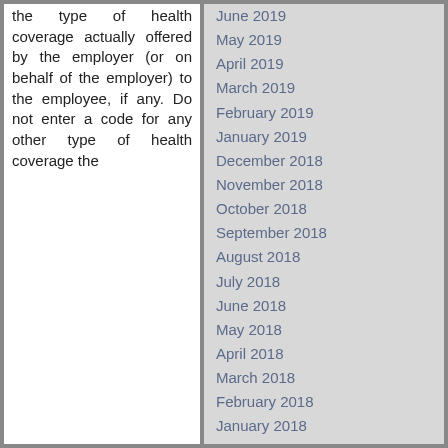the type of health coverage actually offered by the employer (or on behalf of the employer) to the employee, if any. Do not enter a code for any other type of health coverage the
June 2019
May 2019
April 2019
March 2019
February 2019
January 2019
December 2018
November 2018
October 2018
September 2018
August 2018
July 2018
June 2018
May 2018
April 2018
March 2018
February 2018
January 2018
December 2017
November 2017
October 2017